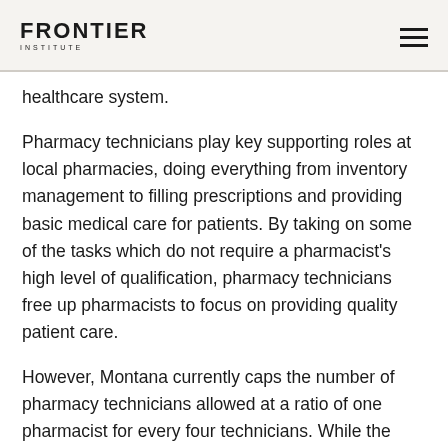FRONTIER INSTITUTE
healthcare system.
Pharmacy technicians play key supporting roles at local pharmacies, doing everything from inventory management to filling prescriptions and providing basic medical care for patients. By taking on some of the tasks which do not require a pharmacist’s high level of qualification, pharmacy technicians free up pharmacists to focus on providing quality patient care.
However, Montana currently caps the number of pharmacy technicians allowed at a ratio of one pharmacist for every four technicians. While the original intent of this regulation may have been to protect patient safety, researchers note